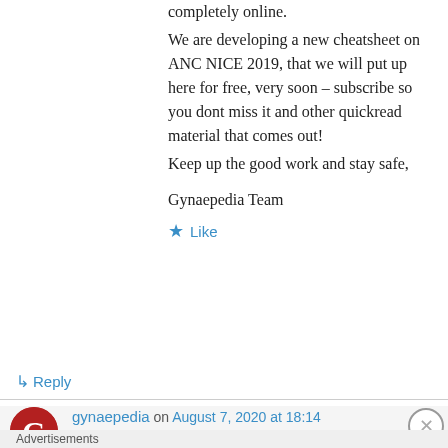changes with NICE, and testing likely to move completely online.
We are developing a new cheatsheet on ANC NICE 2019, that we will put up here for free, very soon – subscribe so you dont miss it and other quickread material that comes out!
Keep up the good work and stay safe,
Gynaepedia Team
★ Like
↳ Reply
gynaepedia on August 7, 2020 at 18:14
Advertisements
[Figure (screenshot): DuckDuckGo advertisement banner: orange left section with text 'Search, browse, and email with more privacy. All in One Free App' and dark right section with DuckDuckGo logo.]